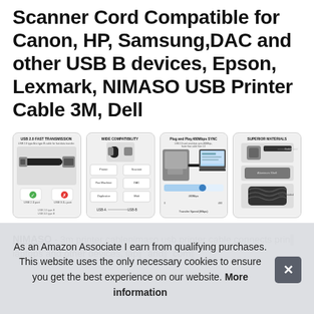Scanner Cord Compatible for Canon, HP, Samsung,DAC and other USB B devices, Epson, Lexmark, NIMASO USB Printer Cable 3M, Dell
[Figure (photo): Four product images in a row showing USB cable features: (1) USB 2.0 Fast Transmission with cable connectors and compatibility icons, (2) Wide Compatibility showing USB-A to USB-B connections with printer/scanner icons, (3) Plug and Play 480Mbps Sync showing cable connected to printer and laptop, (4) Superior Materials showing cable construction details]
NIMASO - 3m printer cablenimaso usb printer cable connects printers, laptops and other devices, and computers
As an Amazon Associate I earn from qualifying purchases. This website uses the only necessary cookies to ensure you get the best experience on our website. More information